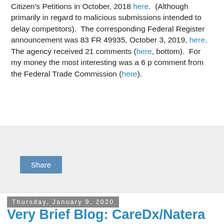Citizen's Petitions in October, 2018 here. (Although primarily in regard to malicious submissions intended to delay competitors). The corresponding Federal Register announcement was 83 FR 49935, October 3, 2019, here. The agency received 21 comments (here, bottom). For my money the most interesting was a 6 p comment from the Federal Trade Commission (here).
[Figure (other): Gray share box with a blue Share button]
Thursday, January 9, 2020
Very Brief Blog: CareDx/Natera Court Case Cites MolDx Article
On January 8, 2020, Genomeweb ran an article about an ongoing legal dispute between CareDx and Natera regarding donor-DNA renal transplant tests - here.